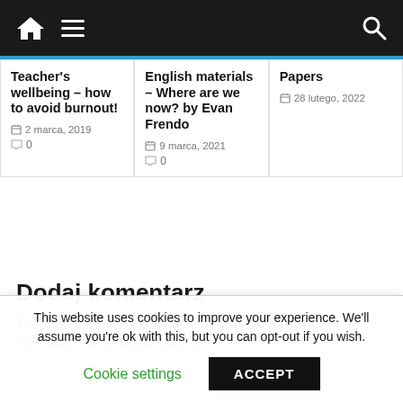Navigation bar with home icon, menu, and search
Teacher's wellbeing – how to avoid burnout!
2 marca, 2019
0
English materials – Where are we now? by Evan Frendo
9 marca, 2021
0
Papers
28 lutego, 2022
Dodaj komentarz
Twój adres e-mail nie zostanie opublikowany.
Wymagane pola są oznaczone *
This website uses cookies to improve your experience. We'll assume you're ok with this, but you can opt-out if you wish.
Cookie settings
ACCEPT